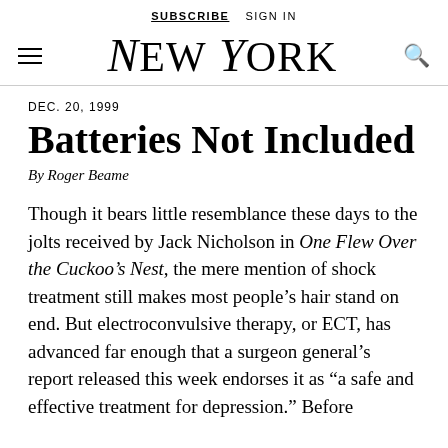SUBSCRIBE  SIGN IN
New York
DEC. 20, 1999
Batteries Not Included
By Roger Beame
Though it bears little resemblance these days to the jolts received by Jack Nicholson in One Flew Over the Cuckoo’s Nest, the mere mention of shock treatment still makes most people’s hair stand on end. But electroconvulsive therapy, or ECT, has advanced far enough that a surgeon general’s report released this week endorses it as “a safe and effective treatment for depression.” Before